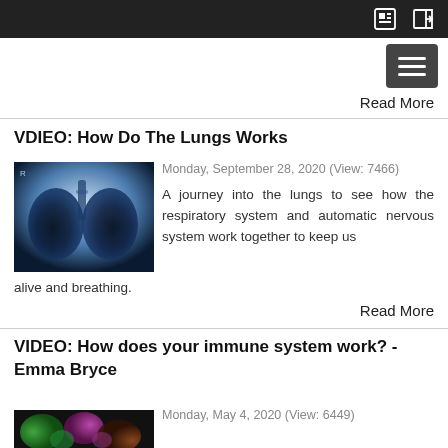Read More
VDIEO: How Do The Lungs Works
Monday, September 28, 2020 (View: 7466)
[Figure (photo): Chest X-ray showing lungs]
A journey into the lungs to see how the respiratory system and automatic nervous system work together to keep us alive and breathing.
Read More
VIDEO: How does your immune system work? - Emma Bryce
Monday, May 4, 2020 (View: 6449)
[Figure (photo): Colorful microscopic image of immune cells]